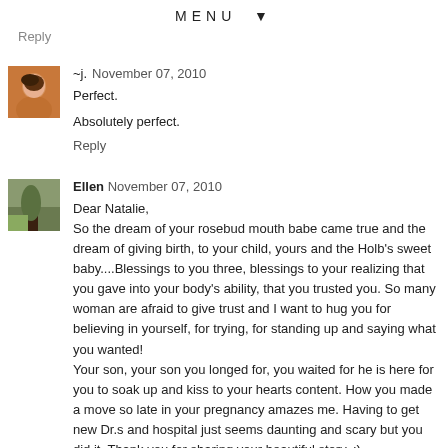MENU ▼
Reply
~j.  November 07, 2010
Perfect.

Absolutely perfect.
Reply
Ellen  November 07, 2010
Dear Natalie,
So the dream of your rosebud mouth babe came true and the dream of giving birth, to your child, yours and the Holb's sweet baby....Blessings to you three, blessings to your realizing that you gave into your body's ability, that you trusted you. So many woman are afraid to give trust and I want to hug you for believing in yourself, for trying, for standing up and saying what you wanted!
Your son, your son you longed for, you waited for he is here for you to soak up and kiss to your hearts content. How you made a move so late in your pregnancy amazes me. Having to get new Dr.s and hospital just seems daunting and scary but you did it. Thank you for sharing your beautiful story. :)